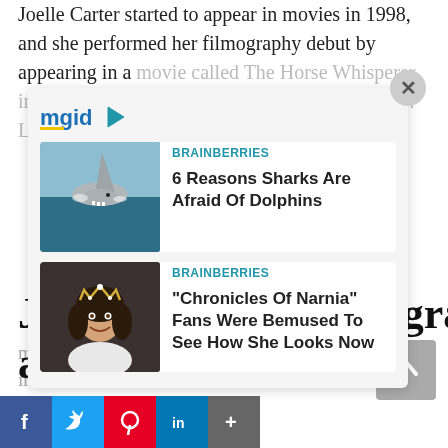Joelle Carter started to appear in movies in 1998, and she performed her filmography debut by appearing in a movie called The Horse Whisperer, in which she played the role of Office Worker #1. Later she landed a role in a
[Figure (screenshot): mgid advertisement overlay card with two sponsored content items: 1) BRAINBERRIES - '6 Reasons Sharks Are Afraid Of Dolphins' with shark image, 2) BRAINBERRIES - '"Chronicles Of Narnia" Fans Were Bemused To See How She Looks Now' with girl in tiara image. Close button (X) in top right corner.]
movie series American Pie 2. In 2001, she appeared in
Joelle Carter's filmography and television series!
[Figure (infographic): Social sharing buttons bar: Facebook (blue), Twitter (light blue), Pinterest (red), LinkedIn (blue), More/Add (grey)]
[Figure (other): Scroll-to-top button (grey square with upward arrow)]